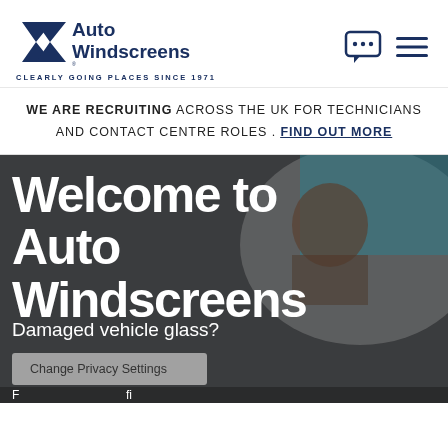[Figure (logo): Auto Windscreens logo with chevron/windscreen mark in dark navy blue]
CLEARLY GOING PLACES SINCE 1971
WE ARE RECRUITING ACROSS THE UK FOR TECHNICIANS AND CONTACT CENTRE ROLES . FIND OUT MORE
Welcome to Auto Windscreens
Damaged vehicle glass?
Change Privacy Settings